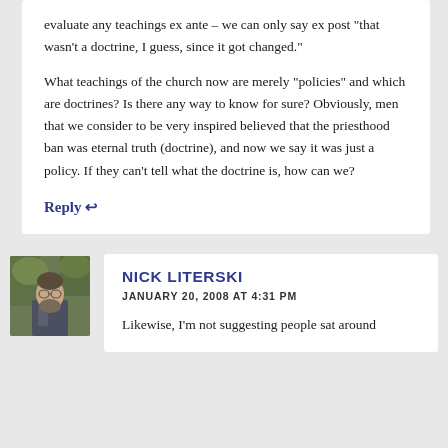evaluate any teachings ex ante – we can only say ex post "that wasn't a doctrine, I guess, since it got changed."
What teachings of the church now are merely "policies" and which are doctrines? Is there any way to know for sure? Obviously, men that we consider to be very inspired believed that the priesthood ban was eternal truth (doctrine), and now we say it was just a policy. If they can't tell what the doctrine is, how can we?
Reply ↩
[Figure (photo): Avatar photo of Nick Literski, a bearded man outdoors]
NICK LITERSKI
JANUARY 20, 2008 AT 4:31 PM
Likewise, I'm not suggesting people sat around